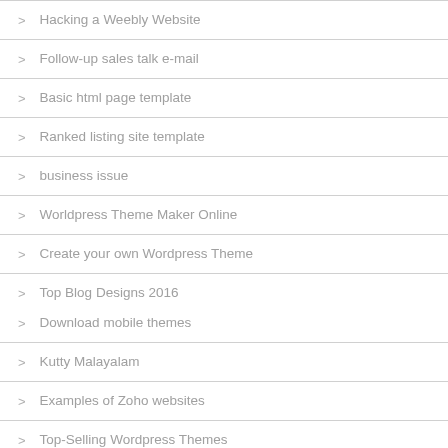Hacking a Weebly Website
Follow-up sales talk e-mail
Basic html page template
Ranked listing site template
business issue
Worldpress Theme Maker Online
Create your own Wordpress Theme
Top Blog Designs 2016
Download mobile themes
Kutty Malayalam
Examples of Zoho websites
Top-Selling Wordpress Themes
Creating a professional website for free
Simple web design
Popular Online Website Builder